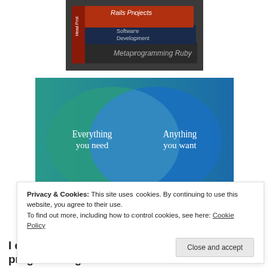[Figure (photo): Stack of programming books with spines showing titles: Rails Projects, Software Development, Metaprogramming Ruby]
[Figure (infographic): Venn diagram with two overlapping circles on teal/blue gradient background. Left circle (teal) labeled 'Everything you need', right circle (blue) labeled 'Anything you want', overlapping center region is lighter blue.]
Privacy & Cookies: This site uses cookies. By continuing to use this website, you agree to their use.
To find out more, including how to control cookies, see here: Cookie Policy
I decided it was high time to start programming